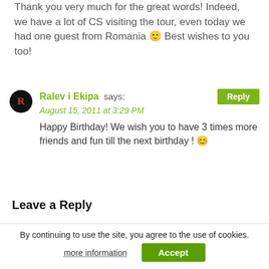Thank you very much for the great words! Indeed, we have a lot of CS visiting the tour, even today we had one guest from Romania 🙂 Best wishes to you too!
Ralev i Ekipa says: August 15, 2011 at 3:29 PM — Happy Birthday! We wish you to have 3 times more friends and fun till the next birthday ! 😊
Leave a Reply
Your email address will not be published. Required fields are marked *
By continuing to use the site, you agree to the use of cookies. more information Accept